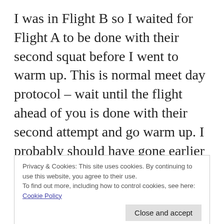I was in Flight B so I waited for Flight A to be done with their second squat before I went to warm up. This is normal meet day protocol – wait until the flight ahead of you is done with their second attempt and go warm up. I probably should have gone earlier or found a different bar to work in on for warm ups. I was helping the women ahead of me – they were lifting lighter so it made sense for them to do
Privacy & Cookies: This site uses cookies. By continuing to use this website, you agree to their use.
To find out more, including how to control cookies, see here:
Cookie Policy
to see where they were in the lifting order